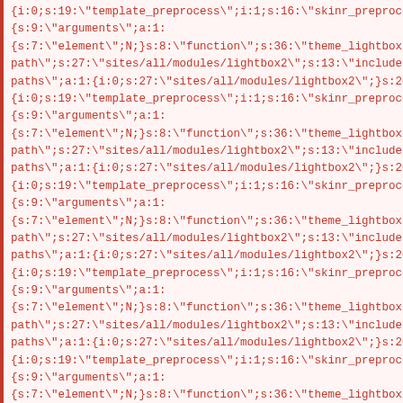{i:0;s:19:"template_preprocess";i:1;s:16:"skinr_preprocess";}}s:61:\
{s:9:"arguments";a:1:
{s:7:"element";N;}s:8:"function";s:36:"theme_lightbox2_formatter_i
path";s:27:"sites/all/modules/lightbox2";s:13:"include files";a:1:{i:0;
paths";a:1:{i:0;s:27:"sites/all/modules/lightbox2";}s:20:"preprocess f
{i:0;s:19:"template_preprocess";i:1;s:16:"skinr_preprocess";}}s:69:\
{s:9:"arguments";a:1:
{s:7:"element";N;}s:8:"function";s:36:"theme_lightbox2_formatter_i
path";s:27:"sites/all/modules/lightbox2";s:13:"include files";a:1:{i:0;
paths";a:1:{i:0;s:27:"sites/all/modules/lightbox2";}s:20:"preprocess f
{i:0;s:19:"template_preprocess";i:1;s:16:"skinr_preprocess";}}s:58:\
{s:9:"arguments";a:1:
{s:7:"element";N;}s:8:"function";s:36:"theme_lightbox2_formatter_i
path";s:27:"sites/all/modules/lightbox2";s:13:"include files";a:1:{i:0;
paths";a:1:{i:0;s:27:"sites/all/modules/lightbox2";}s:20:"preprocess f
{i:0;s:19:"template_preprocess";i:1;s:16:"skinr_preprocess";}}s:56:\
{s:9:"arguments";a:1:
{s:7:"element";N;}s:8:"function";s:36:"theme_lightbox2_formatter_i
path";s:27:"sites/all/modules/lightbox2";s:13:"include files";a:1:{i:0;
paths";a:1:{i:0;s:27:"sites/all/modules/lightbox2";}s:20:"preprocess f
{i:0;s:19:"template_preprocess";i:1;s:16:"skinr_preprocess";}}s:57:\
{s:9:"arguments";a:1:
{s:7:"element";N;}s:8:"function";s:36:"theme_lightbox2_formatter_i
path";s:27:"sites/all/modules/lightbox2";s:13:"include files";a:1:{i:0;
paths";a:1:{i:0;s:27:"sites/all/modules/lightbox2";}s:20:"preprocess